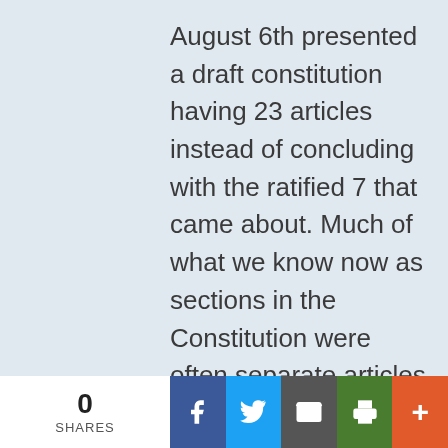August 6th presented a draft constitution having 23 articles instead of concluding with the ratified 7 that came about. Much of what we know now as sections in the Constitution were often separate articles in that draft. On my page 135-136, where is draft Article 4 Sec 5 it states:

“All bills for raising or appropriating money, and
0 SHARES | Facebook | Twitter | Email | Print | More